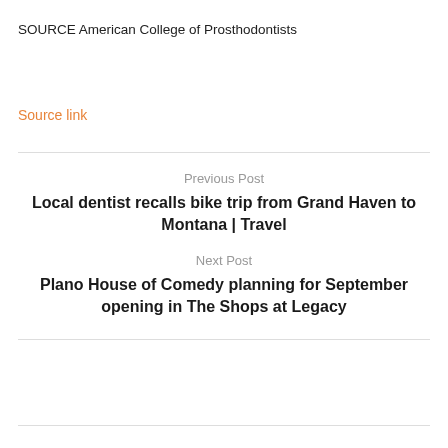SOURCE American College of Prosthodontists
Source link
Previous Post
Local dentist recalls bike trip from Grand Haven to Montana | Travel
Next Post
Plano House of Comedy planning for September opening in The Shops at Legacy